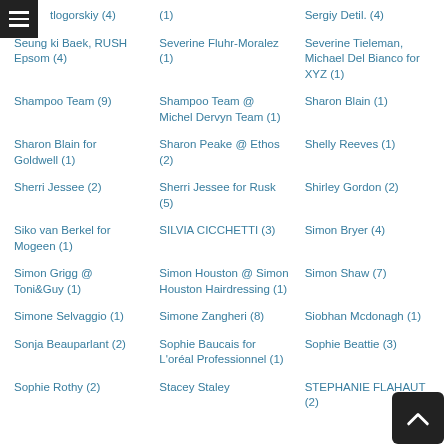logorskiy (4)
(1)
Sergiy Detil. (4)
Seung ki Baek, RUSH Epsom (4)
Severine Fluhr-Moralez (1)
Severine Tieleman, Michael Del Bianco for XYZ (1)
Shampoo Team (9)
Shampoo Team @ Michel Dervyn Team (1)
Sharon Blain (1)
Sharon Blain for Goldwell (1)
Sharon Peake @ Ethos (2)
Shelly Reeves (1)
Sherri Jessee (2)
Sherri Jessee for Rusk (5)
Shirley Gordon (2)
Siko van Berkel for Mogeen (1)
SILVIA CICCHETTI (3)
Simon Bryer (4)
Simon Grigg @ Toni&Guy (1)
Simon Houston @ Simon Houston Hairdressing (1)
Simon Shaw (7)
Simone Selvaggio (1)
Simone Zangheri (8)
Siobhan Mcdonagh (1)
Sonja Beauparlant (2)
Sophie Baucais for L'oréal Professionnel (1)
Sophie Beattie (3)
Sophie Rothy (?)
Stacey Staley
STEPHANIE FLAHAUT (?)